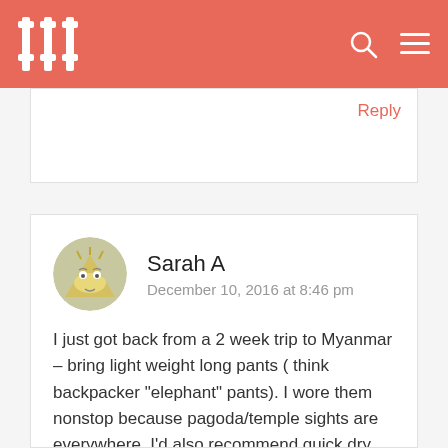HI [logo] [search icon] [menu icon]
Reply
Sarah A
December 10, 2016 at 8:46 pm

I just got back from a 2 week trip to Myanmar – bring light weight long pants ( think backpacker "elephant" pants). I wore them nonstop because pagoda/temple sights are everywhere. I'd also recommend quick dry athletic shirts because it is hot in the sun and you will sweat. its very safe for female travelers – people are incredibly friendly and I found a lot of people spoke at least some English. safety is all about choices – be smart and you'll be fine.